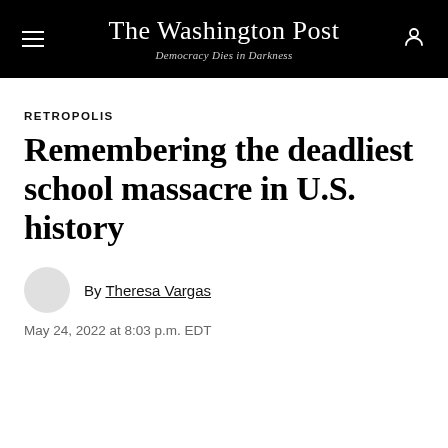The Washington Post — Democracy Dies in Darkness
RETROPOLIS
Remembering the deadliest school massacre in U.S. history
By Theresa Vargas
May 24, 2022 at 8:03 p.m. EDT